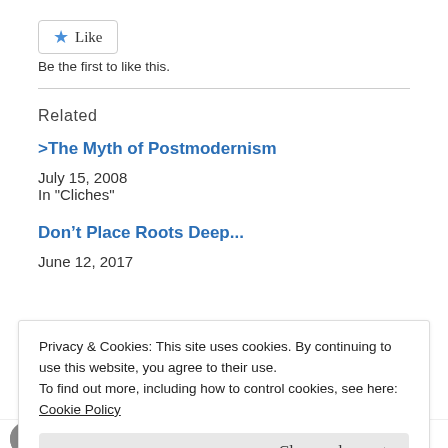[Figure (other): Like button with star icon]
Be the first to like this.
Related
>The Myth of Postmodernism
July 15, 2008
In "Cliches"
Don't Place Roots Deep...
June 12, 2017
Privacy & Cookies: This site uses cookies. By continuing to use this website, you agree to their use.
To find out more, including how to control cookies, see here:
Cookie Policy
Close and accept
Author: Jack Hager